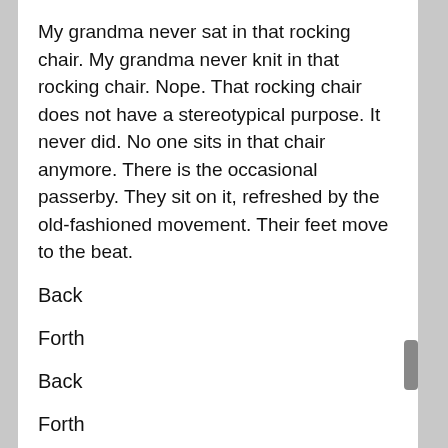My grandma never sat in that rocking chair. My grandma never knit in that rocking chair. Nope. That rocking chair does not have a stereotypical purpose. It never did. No one sits in that chair anymore. There is the occasional passerby. They sit on it, refreshed by the old-fashioned movement. Their feet move to the beat.
Back
Forth
Back
Forth
Back
Forth